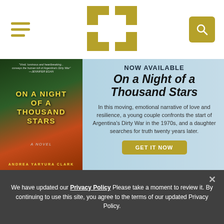[Navigation header with hamburger menu, H logo, and search button]
[Figure (logo): HarperCollins H logo in gold/yellow outline style, centered in header]
NOW AVAILABLE
On a Night of a Thousand Stars
In this moving, emotional narrative of love and resilience, a young couple confronts the start of Argentina's Dirty War in the 1970s, and a daughter searches for truth twenty years later.
GET IT NOW
We have updated our Privacy Policy Please take a moment to review it. By continuing to use this site, you agree to the terms of our updated Privacy Policy.